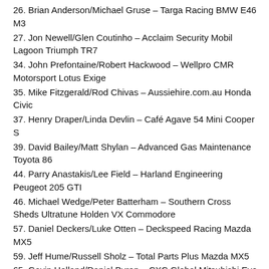26. Brian Anderson/Michael Gruse – Targa Racing BMW E46 M3
27. Jon Newell/Glen Coutinho – Acclaim Security Mobil Lagoon Triumph TR7
34. John Prefontaine/Robert Hackwood – Wellpro CMR Motorsport Lotus Exige
35. Mike Fitzgerald/Rod Chivas – Aussiehire.com.au Honda Civic
37. Henry Draper/Linda Devlin – Café Agave 54 Mini Cooper S
39. David Bailey/Matt Shylan – Advanced Gas Maintenance Toyota 86
44. Parry Anastakis/Lee Field – Harland Engineering Peugeot 205 GTI
46. Michael Wedge/Peter Batterham – Southern Cross Sheds Ultratune Holden VX Commodore
57. Daniel Deckers/Luke Otten – Deckspeed Racing Mazda MX5
59. Jeff Hume/Russell Sholz – Total Parts Plus Mazda MX5
65. Gavin Holland/Daniel Byron – CXC Global Mitsubishi Evo IX
66. Glenn Potter/Rod Potter – Handit BMW E30 325i
68. Dylan Thomas/Dave Thomas – CXC Global Mitsubishi Evo X
69. Adam Dodd/Tony Bonnano – Targa Racing Mazda 6 Diesel